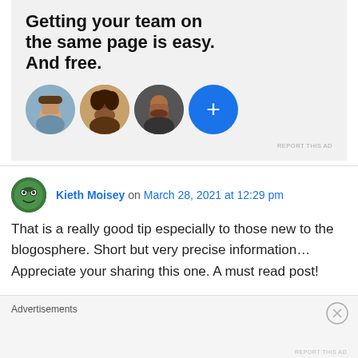[Figure (infographic): Advertisement banner with bold headline text 'Getting your team on the same page is easy. And free.' and four circular avatar images below including three profile photos and one blue plus button]
REPORT THIS AD
Kieth Moisey on March 28, 2021 at 12:29 pm
That is a really good tip especially to those new to the blogosphere. Short but very precise information… Appreciate your sharing this one. A must read post!
Advertisements
REPORT THIS AD